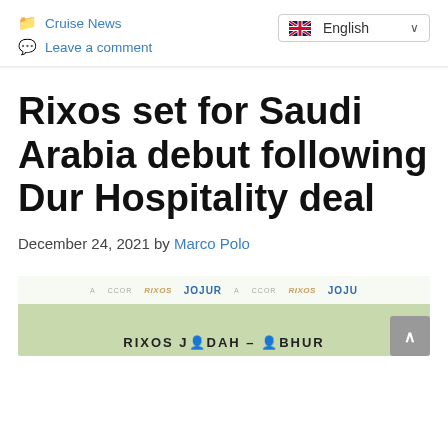Cruise News | Leave a comment | English
Rixos set for Saudi Arabia debut following Dur Hospitality deal
December 24, 2021 by Marco Polo
[Figure (photo): Photo of two people at a signing event in front of a branded backdrop with Accor, Rixos, and Jojur logos, with text reading RIXOS JEDDAH - BHUR]